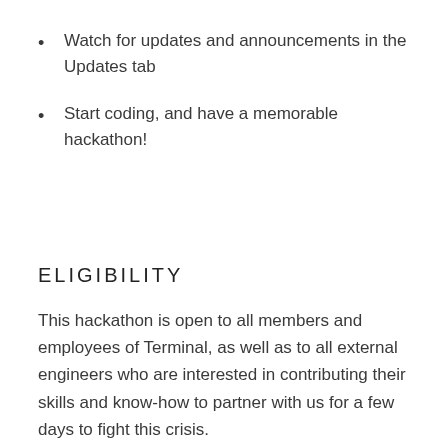Watch for updates and announcements in the Updates tab
Start coding, and have a memorable hackathon!
ELIGIBILITY
This hackathon is open to all members and employees of Terminal, as well as to all external engineers who are interested in contributing their skills and know-how to partner with us for a few days to fight this crisis.